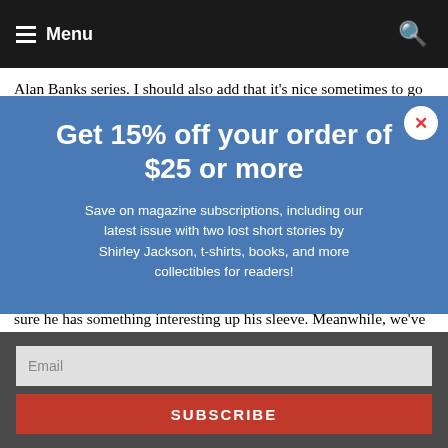Menu
Alan Banks series. I should also add that it's nice sometimes to go back and reread the classics—mysteries that is—and it's wonderful to have such a wealth of good books before us.
AFG: And what about you personally, I was very interested to find that you reread many of her books and you often annotated books with her comments?
CM: At the moment we don't have any more books on Agatha Christie's notebooks coming along. John Curran, the author of the two we've published, is currently finishing his doctorate, but I'm sure he has something interesting up his sleeve. Meanwhile, we've just signed up a book about Christie's plays, written by Julian Green, the producer of The Mousetrap. It's called Curtain Up, and we expect to publish it next year.
[Figure (infographic): Blue popup overlay: 'Get 15% off your order of $25 or more' with subtext 'Save on magazine subscriptions, including our latest issue with two lost short stories by Shirley Jackson, t-shirts, books, and more collectibles for readers!' with close button. Below that, dark grey overlay with email field and red SUBSCRIBE button.]